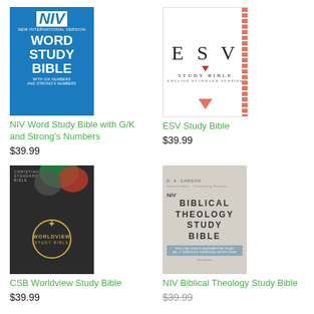[Figure (illustration): Book cover of NIV Word Study Bible with G/K and Strong's Numbers - blue cover]
NIV Word Study Bible with G/K and Strong's Numbers
$39.99
[Figure (illustration): Book cover of ESV Study Bible - white cover with red accents]
ESV Study Bible
$39.99
[Figure (illustration): Book cover of CSB Worldview Study Bible - dark cover with gold circle emblem]
CSB Worldview Study Bible
$39.99
[Figure (illustration): Book cover of NIV Biblical Theology Study Bible - light gray cover]
NIV Biblical Theology Study Bible
$39.99